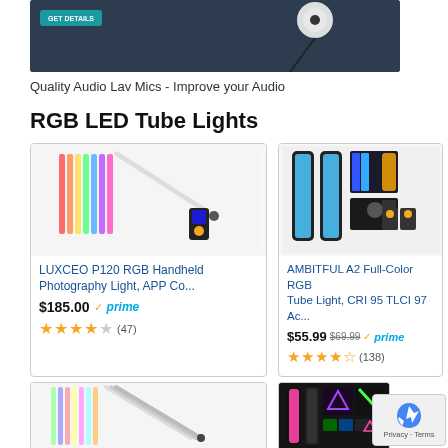[Figure (photo): Top portion of a product advertisement image showing audio lavalier microphone on dark background with GET DETAILS button]
Quality Audio Lav Mics - Improve your Audio
RGB LED Tube Lights
[Figure (photo): LUXCEO P120 RGB Handheld Photography Light product image showing colorful tube light and app controller]
LUXCEO P120 RGB Handheld Photography Light, APP Co...
$185.00 ✓prime ★★★★☆ (47)
[Figure (photo): AMBITFUL A2 Full-Color RGB Tube Light product image showing blue glowing tubes and remote]
AMBITFUL A2 Full-Color RGB Tube Light, CRI 95 TLCI 97 Ac...
$55.99 $69.99 ✓prime ★★★★½ (138)
[Figure (photo): Partial product card bottom showing colorful tube lights]
[Figure (photo): Partial product card bottom showing RGB tube lights with purple and green colors]